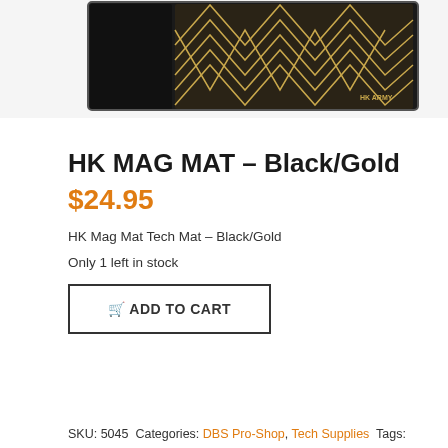[Figure (photo): Product photo of HK MAG MAT in Black/Gold colorway — a tech mat with gold geometric chevron/stripe patterns on a dark background with HK Army branding]
HK MAG MAT – Black/Gold
$24.95
HK Mag Mat Tech Mat – Black/Gold
Only 1 left in stock
🛒 ADD TO CART
SKU: 5045  Categories: DBS Pro-Shop, Tech Supplies  Tags: